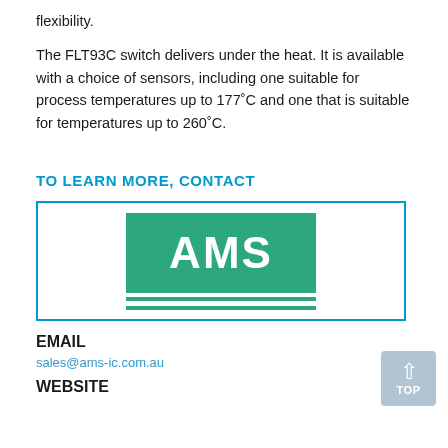flexibility.
The FLT93C switch delivers under the heat. It is available with a choice of sensors, including one suitable for process temperatures up to 177˚C and one that is suitable for temperatures up to 260˚C.
TO LEARN MORE, CONTACT
[Figure (logo): AMS logo — white text 'AMS' on green rectangle with two green underlines, inside a blue-bordered box]
EMAIL
sales@ams-ic.com.au
WEBSITE